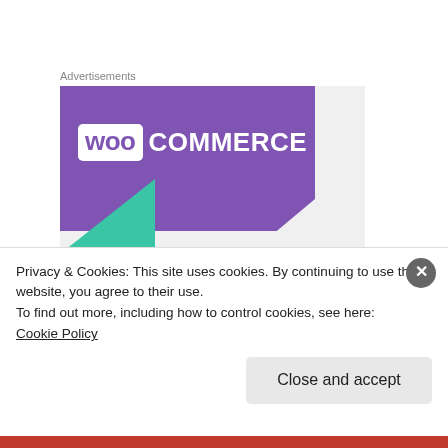Advertisements
[Figure (logo): WooCommerce advertisement banner with purple background and teal accent, showing WooCommerce logo in white and purple on dark purple background]
Photo: Bill with his parents and siblings, David and Mary, at the family home in Niagara Falls, early 1950s
Privacy & Cookies: This site uses cookies. By continuing to use this website, you agree to their use.
To find out more, including how to control cookies, see here:
Cookie Policy
Close and accept